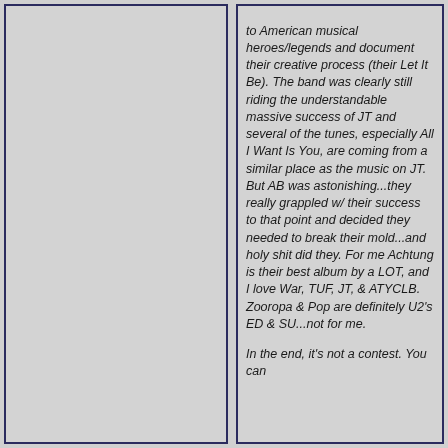to American musical heroes/legends and document their creative process (their Let It Be). The band was clearly still riding the understandable massive success of JT and several of the tunes, especially All I Want Is You, are coming from a similar place as the music on JT. But AB was astonishing...they really grappled w/ their success to that point and decided they needed to break their mold...and holy shit did they. For me Achtung is their best album by a LOT, and I love War, TUF, JT, & ATYCLB. Zooropa & Pop are definitely U2's ED & SU...not for me.

In the end, it's not a contest. You can